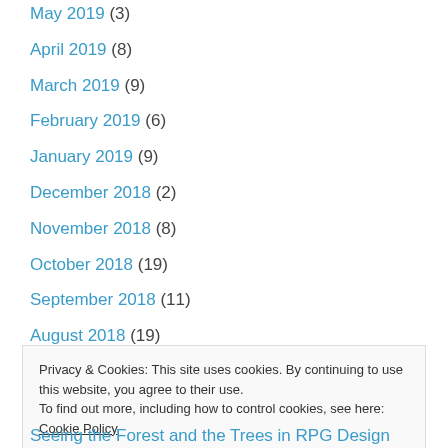May 2019 (3)
April 2019 (8)
March 2019 (9)
February 2019 (6)
January 2019 (9)
December 2018 (2)
November 2018 (8)
October 2018 (19)
September 2018 (11)
August 2018 (19)
Privacy & Cookies: This site uses cookies. By continuing to use this website, you agree to their use.
To find out more, including how to control cookies, see here: Cookie Policy
Close and accept
Seeing the Forest and the Trees in RPG Design